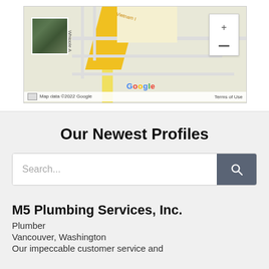[Figure (map): Partial Google Maps view showing roads including Whipple Ave and Vietnam, with a satellite thumbnail, zoom controls, Google logo, and map data copyright footer.]
Our Newest Profiles
[Figure (other): Search bar with placeholder text 'Search...' and a dark search button with magnifying glass icon]
M5 Plumbing Services, Inc.
Plumber
Vancouver, Washington
Our impeccable customer service and